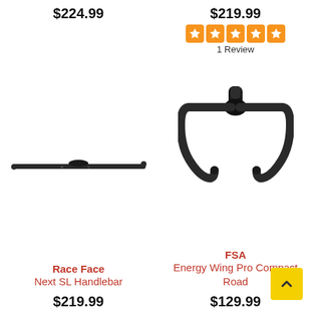$224.99
$219.99
[Figure (other): 5-star rating icons in orange rounded squares]
1 Review
[Figure (photo): Race Face Next SL Handlebar - flat/riser mountain bike handlebar in matte black]
[Figure (photo): FSA Energy Wing Pro Compact Road handlebar - drop bar in matte black with compact ergonomic shape]
Race Face
Next SL Handlebar
FSA
Energy Wing Pro Compact Road
$219.99
$129.99